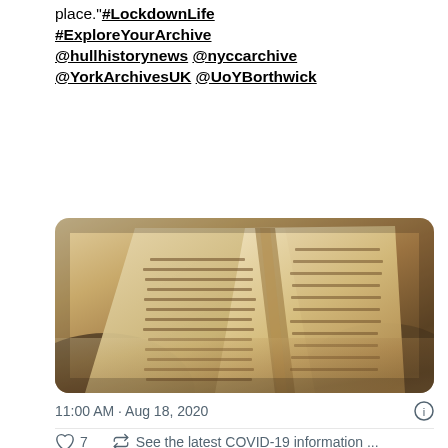place."#LockdownLife #ExploreYourArchive @hullhistorynews @nyccarchive @YorkArchivesUK @UoYBorthwick
[Figure (photo): Close-up photograph of an open old book with aged, yellowed pages covered in handwritten text, pages fanning open]
11:00 AM · Aug 18, 2020
7  See the latest COVID-19 information ...
Explore what's happening on Twitter